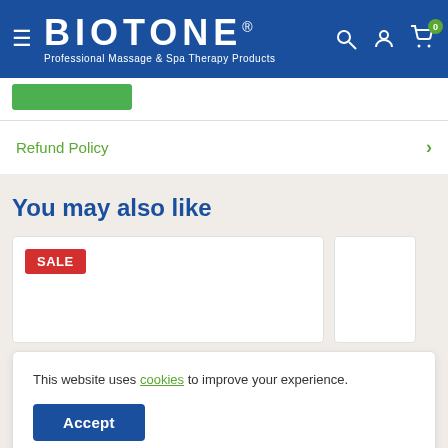[Figure (logo): Biotone logo with hamburger menu icon, search icon, account icon, and cart icon (badge: 0) on blue header background. Subtitle: Professional Massage & Spa Therapy Products]
Refund Policy
You may also like
[Figure (other): Product card with red SALE badge]
This website uses cookies to improve your experience.
Accept